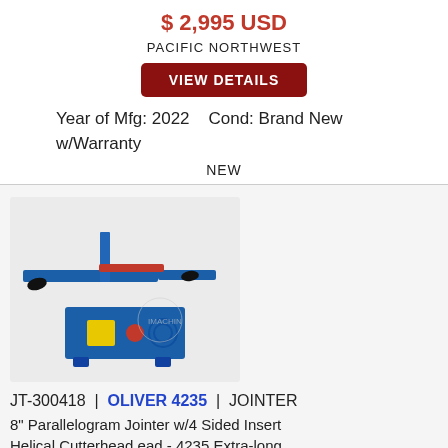$ 2,995 USD
PACIFIC NORTHWEST
VIEW DETAILS
Year of Mfg: 2022    Cond: Brand New w/Warranty
NEW
[Figure (photo): Blue industrial 8-inch jointer machine with long infeed and outfeed tables, blue body, yellow safety label, and red power switch]
JT-300418  |  OLIVER 4235  |  JOINTER
8" Parallelogram Jointer w/4 Sided Insert Helical Cutterhead ead - 4235 Extra-long